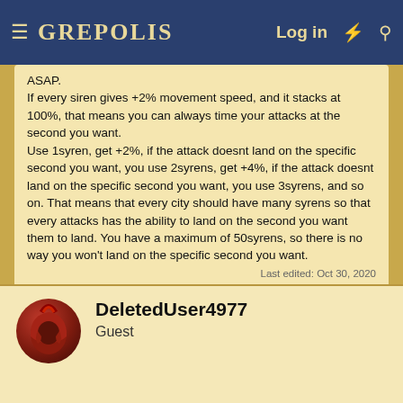GREPOLIS | Log in
ASAP.
If every siren gives +2% movement speed, and it stacks at 100%, that means you can always time your attacks at the second you want.
Use 1syren, get +2%, if the attack doesnt land on the specific second you want, you use 2syrens, get +4%, if the attack doesnt land on the specific second you want, you use 3syrens, and so on. That means that every city should have many syrens so that every attacks has the ability to land on the second you want them to land. You have a maximum of 50syrens, so there is no way you won't land on the specific second you want.
Last edited: Oct 30, 2020
Ellippo, Spartan AD, Shuri2060 and 2 others
DeletedUser4977
Guest